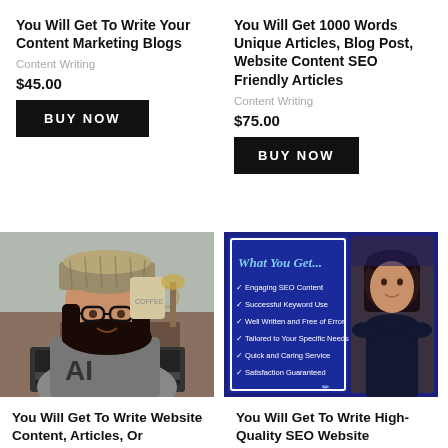You Will Get To Write Your Content Marketing Blogs
Content Writing
$45.00
BUY NOW
You Will Get 1000 Words Unique Articles, Blog Post, Website Content SEO Friendly Articles
Content Writing
$75.00
BUY NOW
[Figure (photo): Person wearing knit hat and glasses holding a mug, sitting in front of a laptop]
[Figure (infographic): Blue card with 'What You Get...' text listing: Engaging SEO Content, Successful Keyword Use, Well Written and Free of Error, Tailored to Your Specific Needs, Quick and Caring Service, Satisfaction Guaranteed; alongside a photo of a woman]
You Will Get To Write Website Content, Articles, Or
You Will Get To Write High-Quality SEO Website